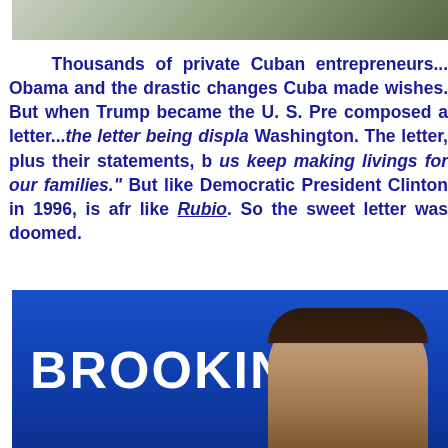[Figure (photo): Top portion of a photo, cropped, showing an outdoor scene]
Thousands of private Cuban entrepreneurs...Obama and the drastic changes Cuba made wishes. But when Trump became the U. S. Pre composed a letter...the letter being displa Washington. The letter, plus their statements, b us keep making livings for our families." But like Democratic President Clinton in 1996, is afr like Rubio. So the sweet letter was doomed.
[Figure (photo): Photo of a man in front of a blue Brookings Institution backdrop, showing the word BROOKIN (partial), with a dark-haired man visible from the shoulders up]